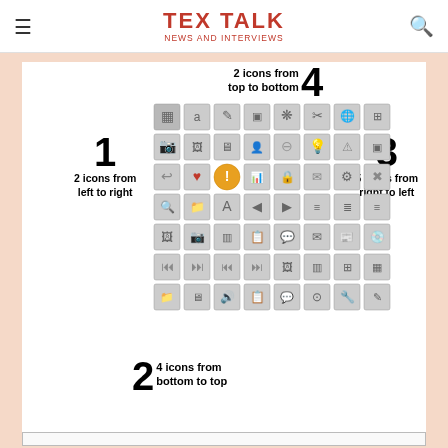TEX TALK
NEWS AND INTERVIEWS
option which we can use for mapping our sprite sheet. For instance, let's include the warning sign in our document. We need to collect some data first:
[Figure (illustration): Sprite sheet grid diagram showing icons arranged in a grid. Four numbered annotations indicate: 1) 2 icons from left to right, 2) 4 icons from bottom to top, 3) 5 icons from right to left, 4) 2 icons from top to bottom. The grid shows various grayscale icons including camera, folder, arrow, heart, warning sign (highlighted in orange), bar chart, lock, gear, and others.]
We have all the parameters for including the warning sign. It's now a simple call to